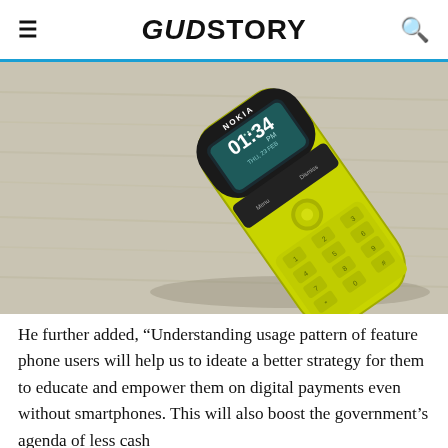GUDSTORY
[Figure (photo): A yellow Nokia 8110 banana phone lying diagonally on a wooden surface, showing the time 1:34 PM on its curved screen with a teal/green background display.]
He further added, “Understanding usage pattern of feature phone users will help us to ideate a better strategy for them to educate and empower them on digital payments even without smartphones. This will also boost the government’s agenda of less cash economy.